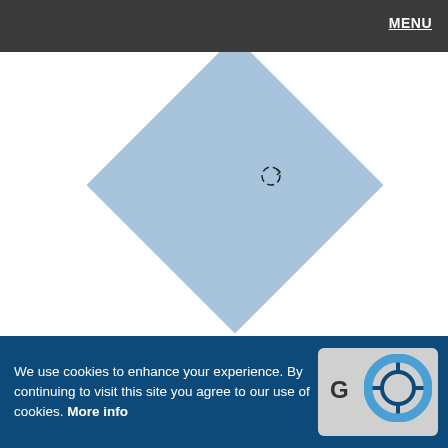MENU
[Figure (illustration): A blue diamond shape (square rotated 45 degrees) with a small circular rotation arrow icon to its right, on a white background.]
When you insert any shape into your PowerPoint slide, more often than not you will want to make some changes to the default shape that you end up with. Mainly, you may want to resize and
We use cookies to enhance your experience. By continuing to visit this site you agree to our use of cookies. More info